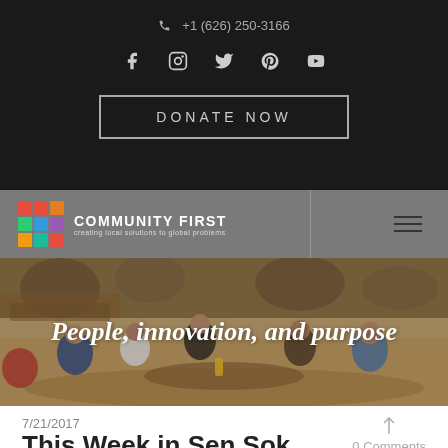+1 (626) 250-3166
[Figure (screenshot): Social media icons: Facebook, Instagram, Twitter, Pinterest, YouTube]
DONATE NOW
[Figure (logo): Community First logo with colorful dot grid and tagline 'creating local solutions to global problems']
[Figure (photo): Group of young people sitting around a table outdoors under trees, appears to be in Southeast Asia]
People, innovation, and purpose
7/21/2017
0 Comments
This Week in Sen Sok